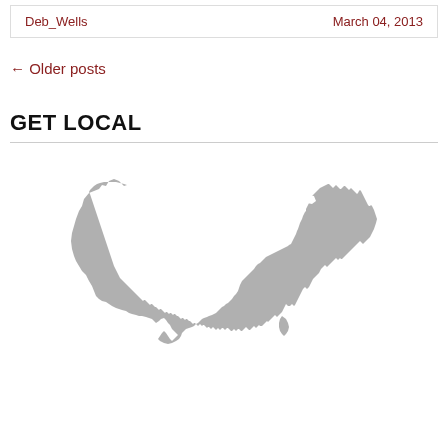Deb_Wells    March 04, 2013
← Older posts
GET LOCAL
[Figure (map): Silhouette map of the contiguous United States in gray]